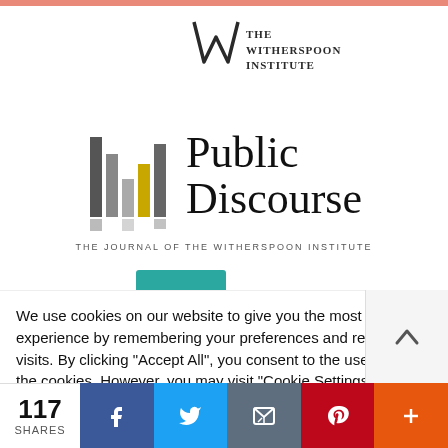[Figure (logo): The Witherspoon Institute logo with stylized W and institute name text]
[Figure (logo): Public Discourse logo — vertical bar chart graphic in gray and yellow beside large serif text 'Public Discourse' and subtitle 'THE JOURNAL OF THE WITHERSPOON INSTITUTE']
We use cookies on our website to give you the most relevant experience by remembering your preferences and repeat visits. By clicking "Accept All", you consent to the use of ALL the cookies. However, you may visit "Cookie Settings" to provide a controlled consent.
[Figure (infographic): Social share bar showing 117 SHARES, Facebook, Twitter, Email, Pinterest, and More (+) buttons]